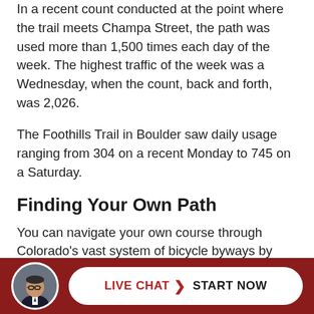In a recent count conducted at the point where the trail meets Champa Street, the path was used more than 1,500 times each day of the week. The highest traffic of the week was a Wednesday, when the count, back and forth, was 2,026.
The Foothills Trail in Boulder saw daily usage ranging from 304 on a recent Monday to 745 on a Saturday.
Finding Your Own Path
You can navigate your own course through Colorado's vast system of bicycle byways by downloading electronic maps or requesting paper copies at the CDOT website.
[Figure (other): Live chat footer bar with circular avatar photo of a man in a suit, and a white pill-shaped button reading LIVE CHAT > START NOW on a dark red background]